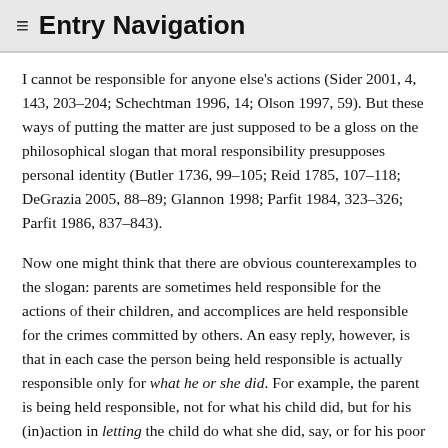≡ Entry Navigation
I cannot be responsible for anyone else's actions (Sider 2001, 4, 143, 203–204; Schechtman 1996, 14; Olson 1997, 59). But these ways of putting the matter are just supposed to be a gloss on the philosophical slogan that moral responsibility presupposes personal identity (Butler 1736, 99–105; Reid 1785, 107–118; DeGrazia 2005, 88–89; Glannon 1998; Parfit 1984, 323–326; Parfit 1986, 837–843).
Now one might think that there are obvious counterexamples to the slogan: parents are sometimes held responsible for the actions of their children, and accomplices are held responsible for the crimes committed by others. An easy reply, however, is that in each case the person being held responsible is actually responsible only for what he or she did. For example, the parent is being held responsible, not for what his child did, but for his (in)action in letting the child do what she did, say, or for his poor parenting. And the accomplice is being held responsible, not for what the criminal did, but